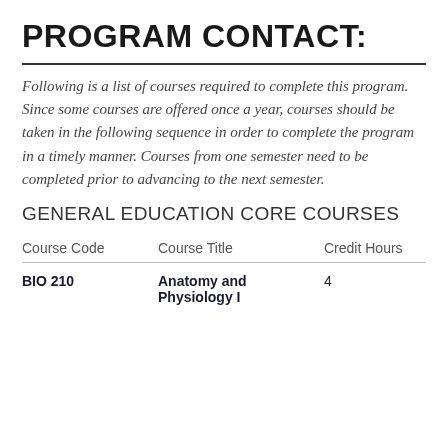PROGRAM CONTACT:
Following is a list of courses required to complete this program. Since some courses are offered once a year, courses should be taken in the following sequence in order to complete the program in a timely manner. Courses from one semester need to be completed prior to advancing to the next semester.
GENERAL EDUCATION CORE COURSES
| Course Code | Course Title | Credit Hours |
| --- | --- | --- |
| BIO 210 | Anatomy and Physiology I | 4 |